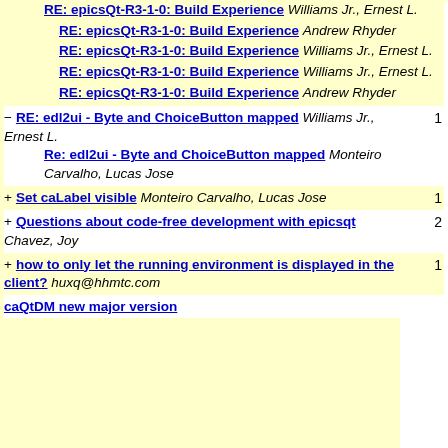RE: epicsQt-R3-1-0: Build Experience Williams Jr., Ernest L.
RE: epicsQt-R3-1-0: Build Experience Andrew Rhyder
RE: epicsQt-R3-1-0: Build Experience Williams Jr., Ernest L.
RE: epicsQt-R3-1-0: Build Experience Williams Jr., Ernest L.
RE: epicsQt-R3-1-0: Build Experience Andrew Rhyder
- RE: edl2ui - Byte and ChoiceButton mapped Williams Jr., Ernest L. | Re: edl2ui - Byte and ChoiceButton mapped Monteiro Carvalho, Lucas Jose | count: 1
+ Set caLabel visible Monteiro Carvalho, Lucas Jose | count: 1
+ Questions about code-free development with epicsqt Chavez, Joy | count: 2
+ how to only let the running environment is displayed in the client? huxq@hhmtc.com | count: 1
caQtDM new major version